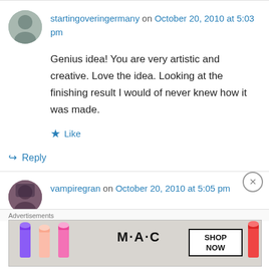startingoveringermany on October 20, 2010 at 5:03 pm
Genius idea! You are very artistic and creative. Love the idea. Looking at the finishing result I would of never knew how it was made.
Like
Reply
vampiregran on October 20, 2010 at 5:05 pm
Those are the cutest ever!!!!!
Advertisements
[Figure (illustration): MAC cosmetics advertisement banner showing lipsticks in purple, pink, and red with MAC logo and SHOP NOW button]